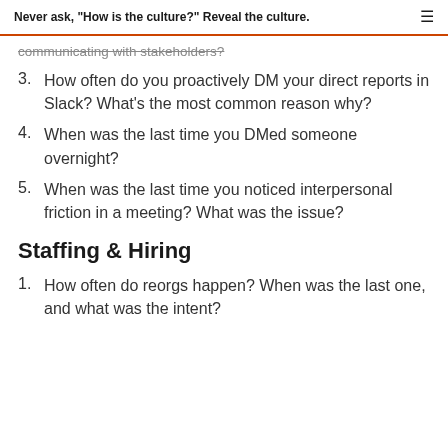Never ask, "How is the culture?" Reveal the culture.
communicating with stakeholders?
3. How often do you proactively DM your direct reports in Slack? What's the most common reason why?
4. When was the last time you DMed someone overnight?
5. When was the last time you noticed interpersonal friction in a meeting? What was the issue?
Staffing & Hiring
1. How often do reorgs happen? When was the last one, and what was the intent?